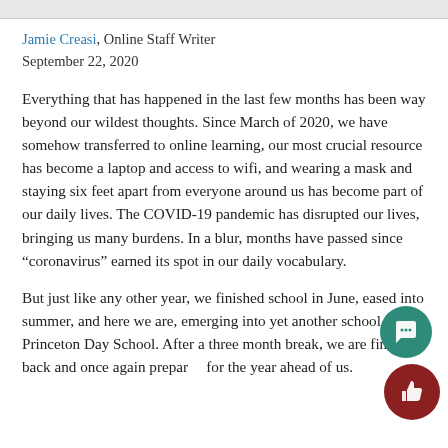Jamie Creasi, Online Staff Writer
September 22, 2020
Everything that has happened in the last few months has been way beyond our wildest thoughts. Since March of 2020, we have somehow transferred to online learning, our most crucial resource has become a laptop and access to wifi, and wearing a mask and staying six feet apart from everyone around us has become part of our daily lives. The COVID-19 pandemic has disrupted our lives, bringing us many burdens. In a blur, months have passed since “coronavirus” earned its spot in our daily vocabulary.
But just like any other year, we finished school in June, eased into summer, and here we are, emerging into yet another school year at Princeton Day School. After a three month break, we are finally back and once again prepared for the year ahead of us.